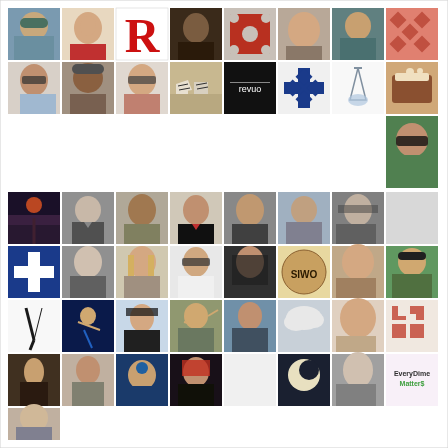[Figure (photo): Grid collage of profile photos, avatars, logos, and images arranged in rows. Contains approximately 45 thumbnail images of people, patterns, animals, logos, and illustrations.]